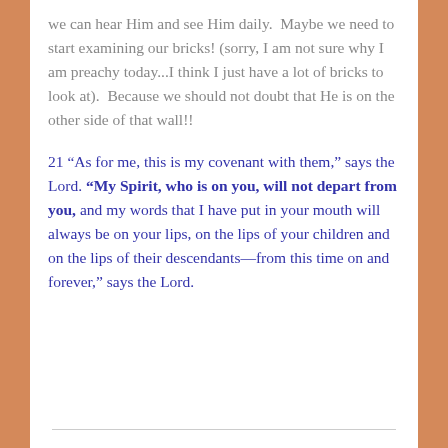we can hear Him and see Him daily.  Maybe we need to start examining our bricks! (sorry, I am not sure why I am preachy today...I think I just have a lot of bricks to look at).  Because we should not doubt that He is on the other side of that wall!!
21 “As for me, this is my covenant with them,” says the Lord. “My Spirit, who is on you, will not depart from you, and my words that I have put in your mouth will always be on your lips, on the lips of your children and on the lips of their descendants—from this time on and forever,” says the Lord.